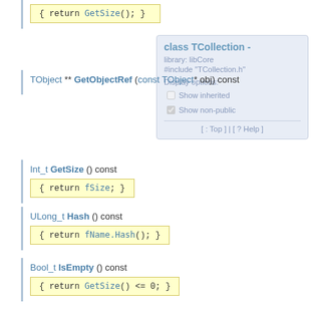{ return GetSize(); }
TObject ** GetObjectRef (const TObject* obj) const
[Figure (screenshot): Popup panel showing class TCollection with library: libCore, #include 'TCollection.h', Display options: Show inherited (unchecked), Show non-public (checked), navigation links [ : Top ] | [ ? Help ]]
Int_t GetSize () const
{ return fSize; }
ULong_t Hash () const
{ return fName.Hash(); }
Bool_t IsEmpty () const
{ return GetSize() <= 0; }